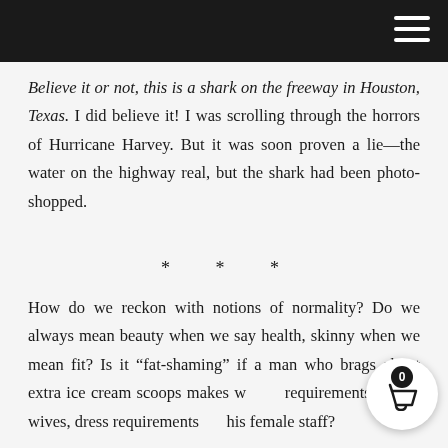Believe it or not, this is a shark on the freeway in Houston, Texas. I did believe it! I was scrolling through the horrors of Hurricane Harvey. But it was soon proven a lie—the water on the highway real, but the shark had been photo-shopped.
* * *
How do we reckon with notions of normality? Do we always mean beauty when we say health, skinny when we mean fit? Is it “fat-shaming” if a man who brags about extra ice cream scoops makes weight requirements for his wives, dress requirements for his female staff?